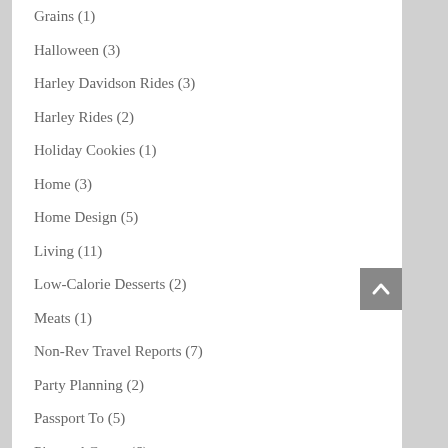Grains (1)
Halloween (3)
Harley Davidson Rides (3)
Harley Rides (2)
Holiday Cookies (1)
Home (3)
Home Design (5)
Living (11)
Low-Calorie Desserts (2)
Meats (1)
Non-Rev Travel Reports (7)
Party Planning (2)
Passport To (5)
Pies and Crusts (6)
Pies and Crusts (2)
Pizza (1)